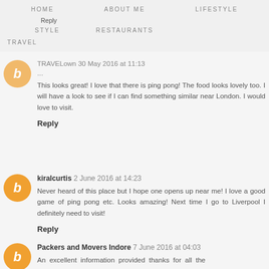HOME   ABOUT ME   LIFESTYLE   Reply   STYLE   RESTAURANTS   TRAVEL
TRAVELown 30 May 2016 at 11:13
This looks great! I love that there is ping pong! The food looks lovely too. I will have a look to see if I can find something similar near London. I would love to visit.
Reply
kiralcurtis 2 June 2016 at 14:23
Never heard of this place but I hope one opens up near me! I love a good game of ping pong etc. Looks amazing! Next time I go to Liverpool I definitely need to visit!
Reply
Packers and Movers Indore 7 June 2016 at 04:03
An excellent information provided thanks for all the